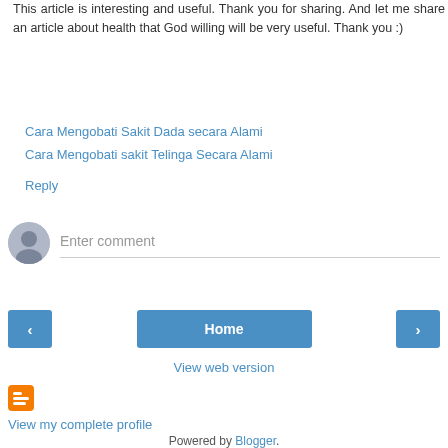This article is interesting and useful. Thank you for sharing. And let me share an article about health that God willing will be very useful. Thank you :)
Cara Mengobati Sakit Dada secara Alami
Cara Mengobati sakit Telinga Secara Alami
Reply
[Figure (other): Comment input area with user avatar placeholder and 'Enter comment' text field]
[Figure (other): Navigation bar with back arrow button, Home button, and forward arrow button]
View web version
[Figure (logo): Blogger orange logo icon]
View my complete profile
Powered by Blogger.